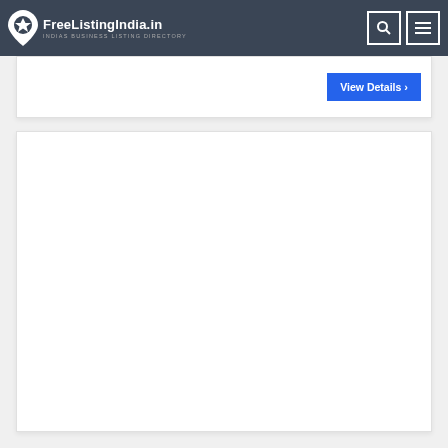FreeListingIndia.in — INDIAS BUSINESS LISTING DIRECTORY
View Details ›
[Figure (other): Large empty white content card/panel area]